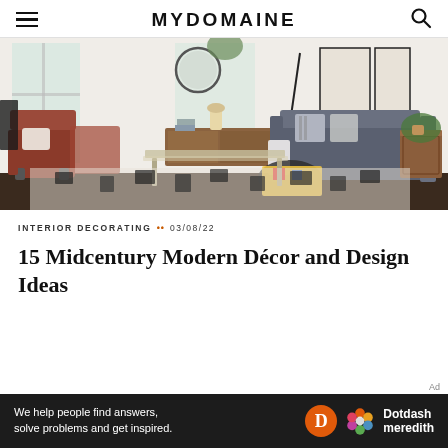MYDOMAINE
[Figure (photo): Interior living room photo showing midcentury modern style with rust-colored chairs, gray sofa, wood furniture, round mirror, and patterned area rug]
INTERIOR DECORATING •• 03/08/22
15 Midcentury Modern Décor and Design Ideas
Ad
We help people find answers, solve problems and get inspired. Dotdash meredith